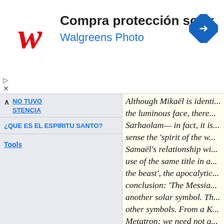[Figure (other): Walgreens ad banner: Compra protección solar, Walgreens Photo, with Walgreens logo and direction icon]
NO TUVO
STENCIA
¿QUE ES EL ESPIRITU SANTO?
Tools
Although Mikaël is identi... the luminous face, there... Sarhaolam— in fact, it is... sense the 'spirit of the w... Samaël's relationship wi... use of the same title in a... the beast', the apocalytic... conclusion: 'The Messia... another solar symbol. Th... other symbols. From a K... Metatron; we need not g... meaning of symbols, oni... dark aspects is what pro... allows some, unintenion... justification), to believe t... the World'.
[Let us further point ou...